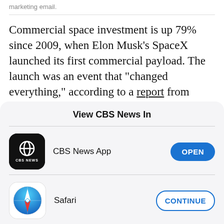marketing email.
Commercial space investment is up 79% since 2009, when Elon Musk's SpaceX launched its first commercial payload. The launch was an event that "changed everything," according to a report from private investment firm Space Angels produced for NASA's small business and technology program.
View CBS News In
[Figure (logo): CBS News app icon - black rounded square with CBS eye logo and CBS NEWS text]
CBS News App
OPEN
[Figure (logo): Safari browser icon - blue compass on white rounded square]
Safari
CONTINUE